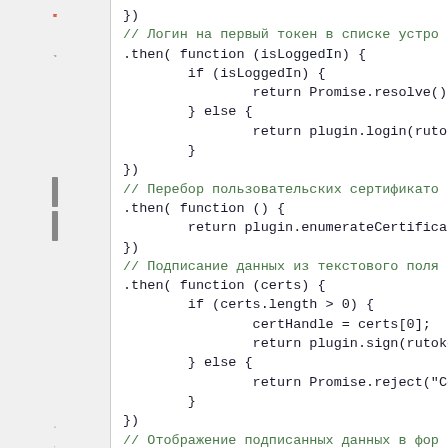[Figure (screenshot): IDE sidebar with icons: stop/cancel icon (red circle with line), tree/hierarchy icon, resize handle bars, gear/settings icon, double-arrow icon]
})
// Логин на первый токен в списке устро
.then( function (isLoggedIn) {
    if (isLoggedIn) {
        return Promise.resolve();
    } else {
        return plugin.login(rutokenHand
    }
})
// Перебор пользовательских сертификато
.then( function () {
    return plugin.enumerateCertificates
})
// Подписание данных из текстового поля
.then( function (certs) {
    if (certs.length > 0) {
        certHandle = certs[0];
        return plugin.sign(rutokenHandl
    } else {
        return Promise.reject("Сертифик
    }
})
// Отображение подписанных данных в фор